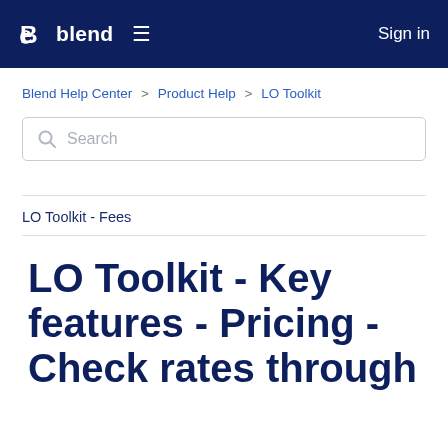blend  ≡  Sign in
Blend Help Center > Product Help > LO Toolkit
Search
LO Toolkit - Fees
LO Toolkit - Key features - Pricing - Check rates through